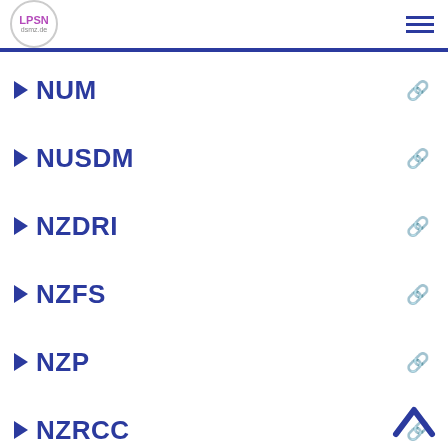LPSN dsmz.de
NUM
NUSDM
NZDRI
NZFS
NZP
NZRCC